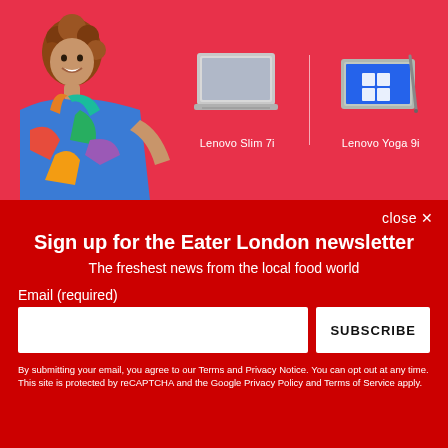[Figure (photo): Advertisement banner on red/pink background showing a smiling woman with curly red hair wearing a colorful outfit, alongside two Lenovo laptops (Lenovo Slim 7i and Lenovo Yoga 9i) separated by a vertical white line.]
Lenovo Slim 7i
Lenovo Yoga 9i
close ×
Sign up for the Eater London newsletter
The freshest news from the local food world
Email (required)
SUBSCRIBE
By submitting your email, you agree to our Terms and Privacy Notice. You can opt out at any time. This site is protected by reCAPTCHA and the Google Privacy Policy and Terms of Service apply.